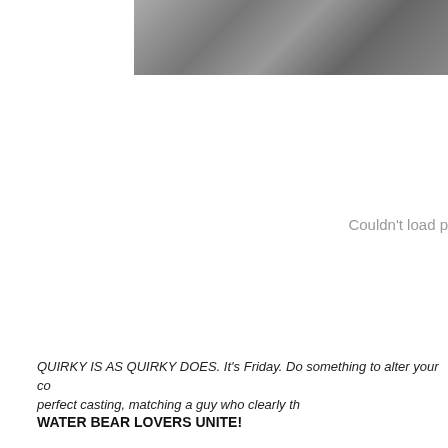[Figure (photo): Black and white close-up photograph of what appears to be a tardigrade (water bear) or similar microscopic organism, cropped at top of page]
Couldn't load p
QUIRKY IS AS QUIRKY DOES. It’s Friday. Do something to alter your co perfect casting, matching a guy who clearly th
WATER BEAR LOVERS UNITE!